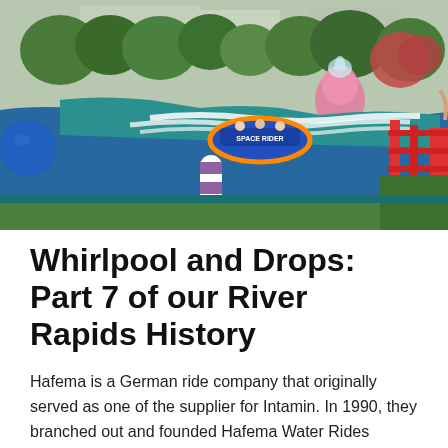[Figure (photo): Outdoor water ride (river rapids) at an amusement park. A blue circular raft labeled 'Space Rider' is visible on the churning white water channel lined with teal/blue walls. A purple and white striped cylindrical bollard is in the foreground. Trees, green bushes, a large blue sphere sculpture on the left, pink/red decorative figures in the background, and a red fence on the right are visible.]
Whirlpool and Drops: Part 7 of our River Rapids History
Hafema is a German ride company that originally served as one of the supplier for Intamin.  In 1990, they branched out and founded Hafema Water Rides GmbH ,a standalone mechanical engineering company.  In 1992,